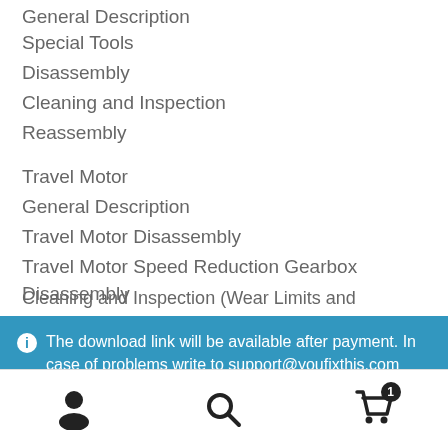General Description
Special Tools
Disassembly
Cleaning and Inspection
Reassembly
Travel Motor
General Description
Travel Motor Disassembly
Travel Motor Speed Reduction Gearbox Disassembly
Cleaning and Inspection (Wear Limits and Tolerances)
The download link will be available after payment. In case of problems write to support@youfixthis.com
Dismiss